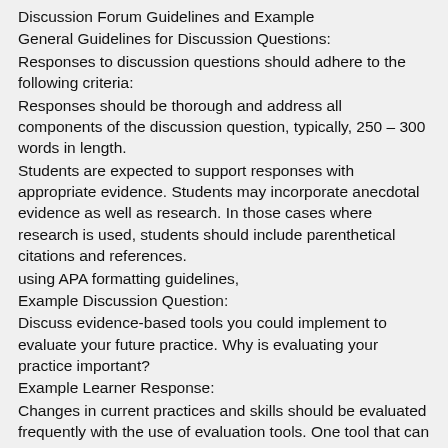Discussion Forum Guidelines and Example
General Guidelines for Discussion Questions:
Responses to discussion questions should adhere to the following criteria:
Responses should be thorough and address all components of the discussion question, typically, 250 – 300 words in length.
Students are expected to support responses with appropriate evidence. Students may incorporate anecdotal evidence as well as research. In those cases where research is used, students should include parenthetical citations and references.
using APA formatting guidelines,
Example Discussion Question:
Discuss evidence-based tools you could implement to evaluate your future practice. Why is evaluating your practice important?
Example Learner Response:
Changes in current practices and skills should be evaluated frequently with the use of evaluation tools. One tool that can assist in evaluating those advancing from a novice level is the Fresno test (McCluskey & Bishop, 2009). It is a comprehensive test that has been verified as a reliable and valid assessment tool (Dragan, 2009). The